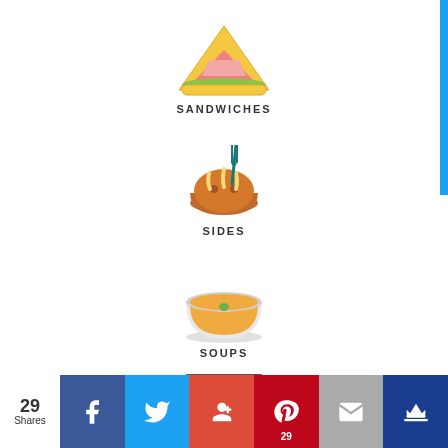[Figure (illustration): Sandwich icon - flat design illustration of a triangle sandwich with yellow bread, pink filling and green lettuce]
SANDWICHES
[Figure (illustration): Sides icon - flat design illustration of a baked potato in a bowl with a fork]
SIDES
[Figure (illustration): Soups icon - flat design illustration of a white bowl with orange/yellow soup and a green garnish]
SOUPS
[Figure (illustration): Partially visible icon at bottom - appears to be an oven/baked goods icon]
29 Shares | Facebook | Twitter | Google+ | Pinterest 29 | Email | Crown